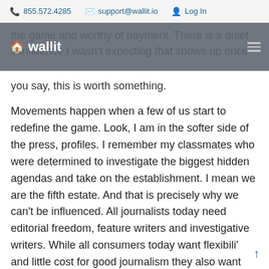855.572.4285   support@wallit.io   Log In
the game and worthy of payment. There is a quiet confidence I wasn't expecting that shows up once you say, this is worth something.
Movements happen when a few of us start to redefine the game. Look, I am in the softer side of the press, profiles. I remember my classmates who were determined to investigate the biggest hidden agendas and take on the establishment. I mean we are the fifth estate. And that is precisely why we can't be influenced. All journalists today need editorial freedom, feature writers and investigative writers. While all consumers today want flexibili' and little cost for good journalism they also want